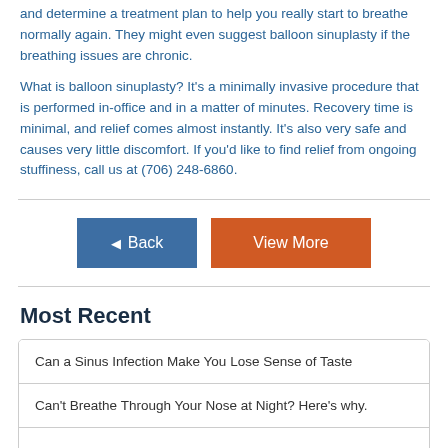and determine a treatment plan to help you really start to breathe normally again. They might even suggest balloon sinuplasty if the breathing issues are chronic.
What is balloon sinuplasty? It's a minimally invasive procedure that is performed in-office and in a matter of minutes. Recovery time is minimal, and relief comes almost instantly. It's also very safe and causes very little discomfort. If you'd like to find relief from ongoing stuffiness, call us at (706) 248-6860.
Most Recent
Can a Sinus Infection Make You Lose Sense of Taste
Can't Breathe Through Your Nose at Night? Here's why.